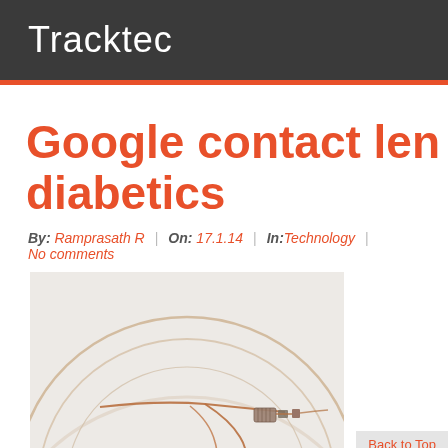Tracktec
Google contact le… diabetics
By: Ramprasath R | On: 17.1.14 | In: Technology | No comments
[Figure (photo): Close-up photograph of a Google smart contact lens prototype showing copper-colored circuit traces and electronics embedded in a clear lens]